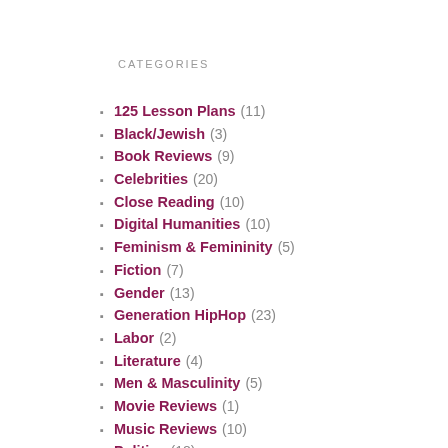CATEGORIES
125 Lesson Plans (11)
Black/Jewish (3)
Book Reviews (9)
Celebrities (20)
Close Reading (10)
Digital Humanities (10)
Feminism & Femininity (5)
Fiction (7)
Gender (13)
Generation HipHop (23)
Labor (2)
Literature (4)
Men & Masculinity (5)
Movie Reviews (1)
Music Reviews (10)
Politics (18)
Pop (5)
Power 7 (6)
R&B (9)